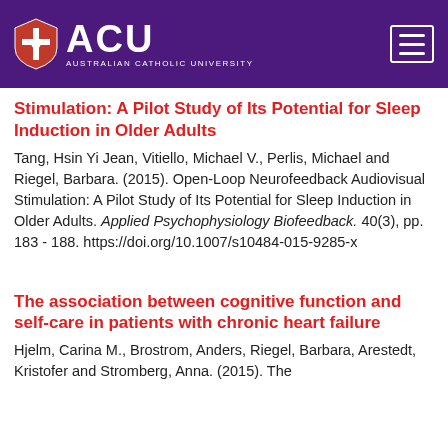ACU — Australian Catholic University
Stimulation: A Pilot Study of Its Potential for Sleep Induction in Older Adults
Tang, Hsin Yi Jean, Vitiello, Michael V., Perlis, Michael and Riegel, Barbara. (2015). Open-Loop Neurofeedback Audiovisual Stimulation: A Pilot Study of Its Potential for Sleep Induction in Older Adults. Applied Psychophysiology Biofeedback. 40(3), pp. 183 - 188. https://doi.org/10.1007/s10484-015-9285-x
The association between cognitive function and self-care in patients with chronic heart failure
Hjelm, Carina M., Brostrom, Anders, Riegel, Barbara, Arestedt, Kristofer and Stromberg, Anna. (2015). The